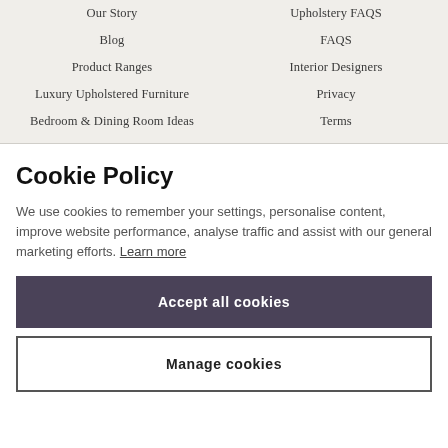Our Story
Upholstery FAQS
Blog
FAQS
Product Ranges
Interior Designers
Luxury Upholstered Furniture
Privacy
Bedroom & Dining Room Ideas
Terms
Cookie Policy
We use cookies to remember your settings, personalise content, improve website performance, analyse traffic and assist with our general marketing efforts. Learn more
Accept all cookies
Manage cookies